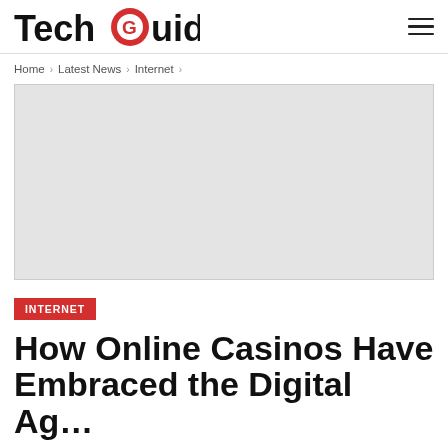TechGuide
Home > Latest News > Internet >
[Figure (other): Grey rectangular advertisement placeholder image]
INTERNET
How Online Casinos Have Embraced the Digital Ag…